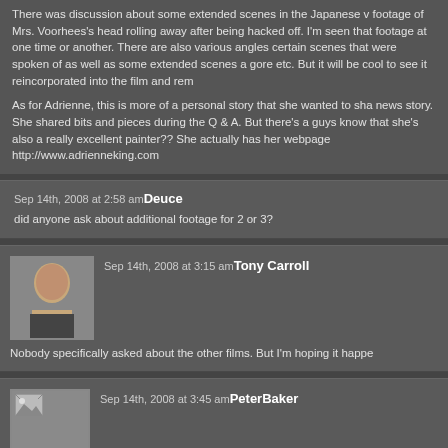There was discussion about some extended scenes in the Japanese w footage of Mrs. Voorhees's head rolling away after being hacked off. I' seen that footage at one time or another. There are also various angles certain scenes that were spoken of as well as some extended scenes a gore etc. But it will be cool to see it reincorporated into the film and rem
As for Adrienne, this is more of a personal story that she wanted to sha news story. She shared bits and pieces during the Q & A. But there's a guys know that she's also a really excellent painter?? She actually has her webpage http://www.adrienneking.com
Sep 14th, 2008 at 2:58 am Deuce
did anyone ask about additional footage for 2 or 3?
[Figure (photo): Avatar photo of Tony Carroll - bald man]
Sep 14th, 2008 at 3:15 am Tony Carroll
Nobody specifically asked about the other films. But I'm hoping it happe
[Figure (photo): Broken/missing avatar image for PeterBaker]
Sep 14th, 2008 at 3:45 am PeterBaker
awesome to hear about the uncut of part 1. i really should have went to